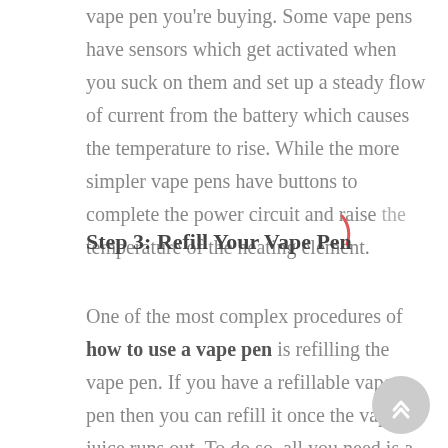vape pen you're buying. Some vape pens have sensors which get activated when you suck on them and set up a steady flow of current from the battery which causes the temperature to rise. While the more simpler vape pens have buttons to complete the power circuit and raise the temperature of the heating element.
Step 3: Refill Your Vape Pen
One of the most complex procedures of how to use a vape pen is refilling the vape pen. If you have a refillable vape pen then you can refill it once the vape juice runs out. To do so, all you need is a syringe with a blunt needle and a vape juice, CBD, or cannabis oil. First of all you'll need to fill the syringe with the e-liquid